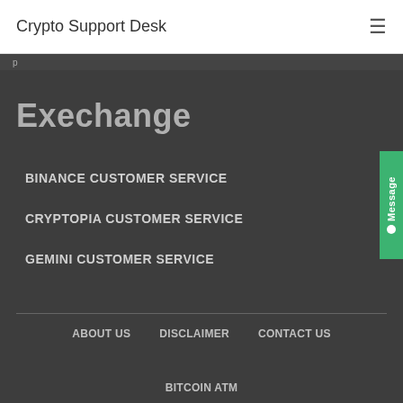Crypto Support Desk
p
Exechange
BINANCE CUSTOMER SERVICE
CRYPTOPIA CUSTOMER SERVICE
GEMINI CUSTOMER SERVICE
ABOUT US   DISCLAIMER   CONTACT US
BITCOIN ATM